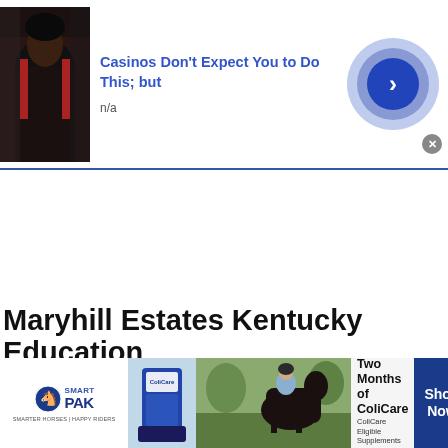[Figure (screenshot): Top banner advertisement: photo of person in dark jacket on left, headline 'Casinos Don't Expect You to Do This; but' in blue, 'n/a' subtitle, concentric circle button with arrow on right, close X button]
Maryhill Estates Kentucky Education
[Figure (screenshot): Bottom banner advertisement for SmartPak featuring horse supplement product, horse and rider photo, '50% Off Two Months of ColiCare, ColiCare Eligible Supplements, CODE: COLICARE10', blue Shop Now button]